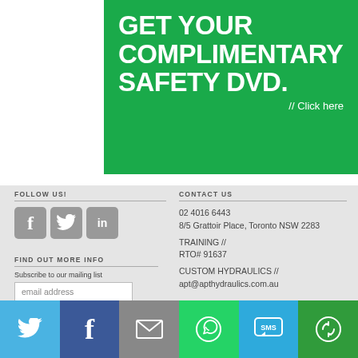[Figure (infographic): Green banner with white bold text: GET YOUR COMPLIMENTARY SAFETY DVD. // Click here]
FOLLOW US!
[Figure (infographic): Social media icons: Facebook, Twitter (bird), LinkedIn]
CONTACT US
02 4016 6443
8/5 Grattoir Place, Toronto NSW 2283
TRAINING // RTO# 91637
CUSTOM HYDRAULICS // apt@apthydraulics.com.au
FIND OUT MORE INFO
Subscribe to our mailing list
email address
[Figure (infographic): Bottom share bar with icons: Twitter (light blue), Facebook (dark blue), email/envelope (grey), WhatsApp (green), SMS (blue), rotate/share (dark green)]